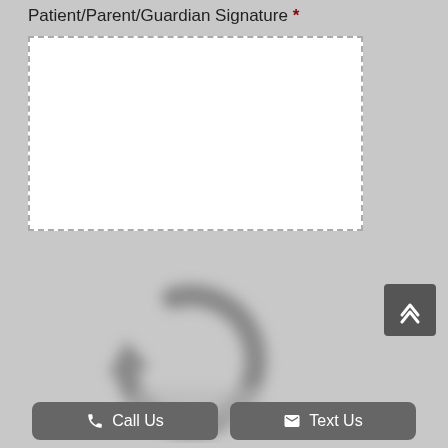Patient/Parent/Guardian Signature *
[Figure (other): Empty white dashed-border signature box for patient/parent/guardian signature]
[Figure (other): Blurred refresh/undo icon in gray, indicating a clear/reset signature action]
[Figure (other): Scroll to top button with upward chevron icon, dark gray rounded square]
Call Us
Text Us